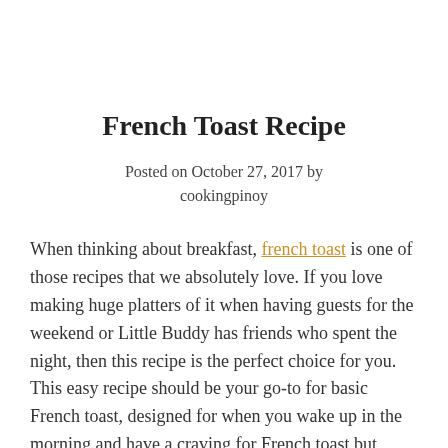French Toast Recipe
Posted on October 27, 2017 by cookingpinoy
When thinking about breakfast, french toast is one of those recipes that we absolutely love. If you love making huge platters of it when having guests for the weekend or Little Buddy has friends who spent the night, then this recipe is the perfect choice for you.
This easy recipe should be your go-to for basic French toast, designed for when you wake up in the morning and have a craving for French toast but haven't planned for it in advance.
It uses only staples like bread, milk, and eggs, and butter.